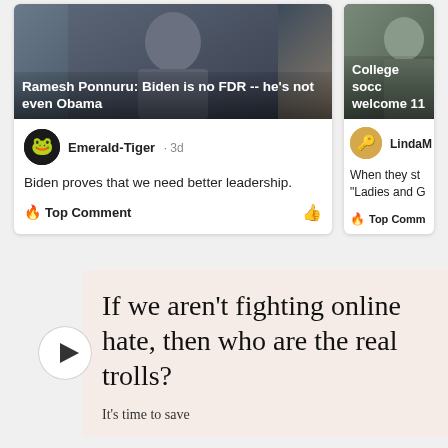[Figure (screenshot): News article card with photo of Biden: 'Ramesh Ponnuru: Biden is no FDR -- he's not even Obama']
[Figure (screenshot): News article card: 'College socc... welcome 11']
Emerald-Tiger · 3d
Biden proves that we need better leadership.
Top Comment
LindaM
When they st "Ladies and G
Top Comm
[Figure (screenshot): Advertisement box: 'If we aren't fighting online hate, then who are the real trolls? It's time to save']